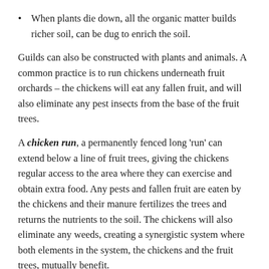When plants die down, all the organic matter builds richer soil, can be dug to enrich the soil.
Guilds can also be constructed with plants and animals. A common practice is to run chickens underneath fruit orchards – the chickens will eat any fallen fruit, and will also eliminate any pest insects from the base of the fruit trees.
A chicken run, a permanently fenced long 'run' can extend below a line of fruit trees, giving the chickens regular access to the area where they can exercise and obtain extra food. Any pests and fallen fruit are eaten by the chickens and their manure fertilizes the trees and returns the nutrients to the soil. The chickens will also eliminate any weeds, creating a synergistic system where both elements in the system, the chickens and the fruit trees, mutually benefit.